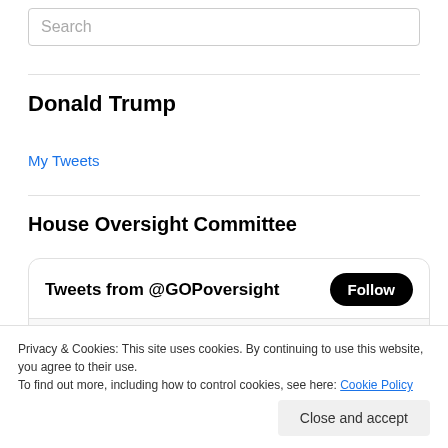Search
Donald Trump
My Tweets
House Oversight Committee
[Figure (screenshot): Twitter widget showing 'Tweets from @GOPoversight' with a Follow button and partial tweet content below]
Privacy & Cookies: This site uses cookies. By continuing to use this website, you agree to their use.
To find out more, including how to control cookies, see here: Cookie Policy
Close and accept